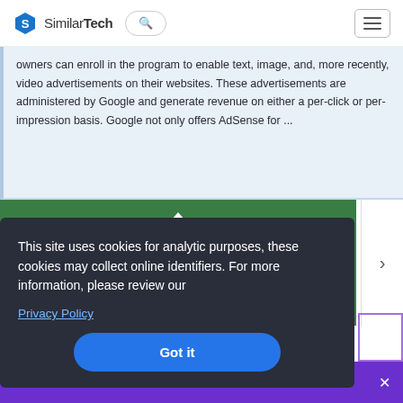SimilarTech
owners can enroll in the program to enable text, image, and, more recently, video advertisements on their websites. These advertisements are administered by Google and generate revenue on either a per-click or per-impression basis. Google not only offers AdSense for ...
[Figure (screenshot): Green background area with white upward-pointing triangle, part of a website carousel or image section]
This site uses cookies for analytic purposes, these cookies may collect online identifiers. For more information, please review our Privacy Policy
Got it
Book a Demo